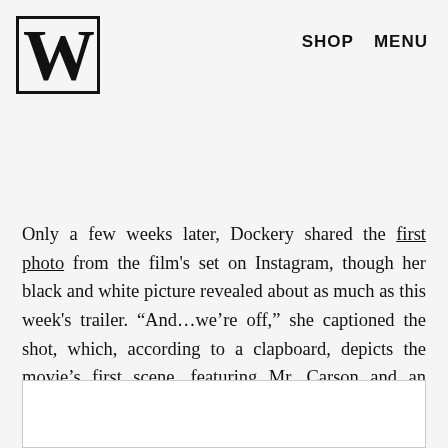W  SHOP  MENU
Only a few weeks later, Dockery shared the first photo from the film's set on Instagram, though her black and white picture revealed about as much as this week's trailer. “And…we’re off,” she captioned the shot, which, according to a clapboard, depicts the movie’s first scene, featuring Mr. Carson and an unidentified woman, likely his wife, Mrs. Hughes.
[Figure (photo): Partially visible image placeholder at the bottom of the page]